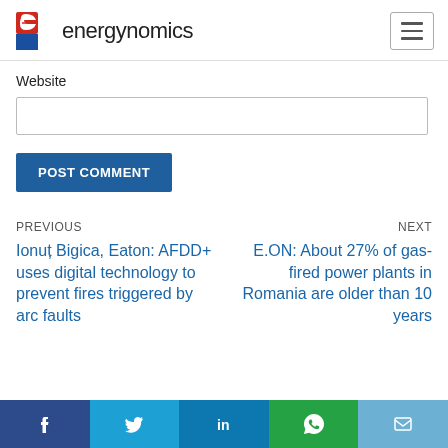energynomics
Website
POST COMMENT
PREVIOUS
Ionuț Bigica, Eaton: AFDD+ uses digital technology to prevent fires triggered by arc faults
NEXT
E.ON: About 27% of gas-fired power plants in Romania are older than 10 years